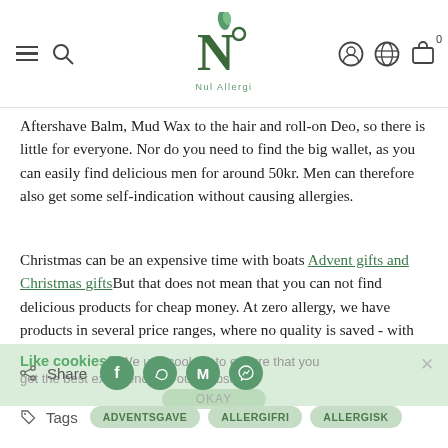Nul Allergi — navigation header with logo, search, account, language, and cart icons
Aftershave Balm, Mud Wax to the hair and roll-on Deo, so there is little for everyone. Nor do you need to find the big wallet, as you can easily find delicious men for around 50kr. Men can therefore also get some self-indication without causing allergies.
Christmas can be an expensive time with boats Advent gifts and Christmas giftsBut that does not mean that you can not find delicious products for cheap money. At zero allergy, we have products in several price ranges, where no quality is saved - with the great bonus that you do not have to worry about allergies. Christmas must offer lots of self-indulgence without allergies.
Like cookies?   We use cookies to ensure that you get the best experience on our webshop.
Share
Tags  ADVENTSGAVE  ALLERGIFRI  ALLERGISK